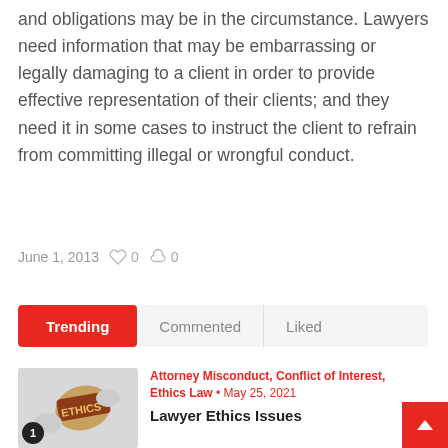and obligations may be in the circumstance. Lawyers need information that may be embarrassing or legally damaging to a client in order to provide effective representation of their clients; and they need it in some cases to instruct the client to refrain from committing illegal or wrongful conduct.
June 1, 2013   0   0
Trending   Commented   Liked
Attorney Misconduct, Conflict of Interest, Ethics Law • May 25, 2021
Lawyer Ethics Issues